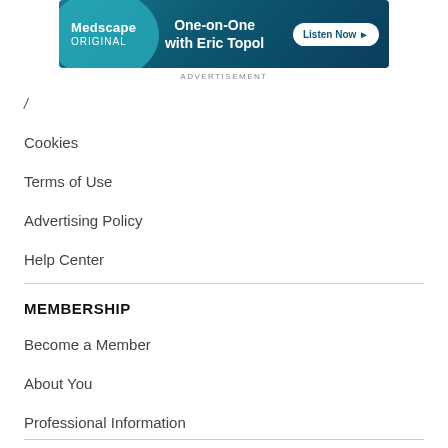[Figure (screenshot): Medscape Original advertisement banner: 'One-on-One with Eric Topol' with Listen Now button]
ADVERTISEMENT
Cookies
Terms of Use
Advertising Policy
Help Center
MEMBERSHIP
Become a Member
About You
Professional Information
Newsletters & Alerts
Market Research